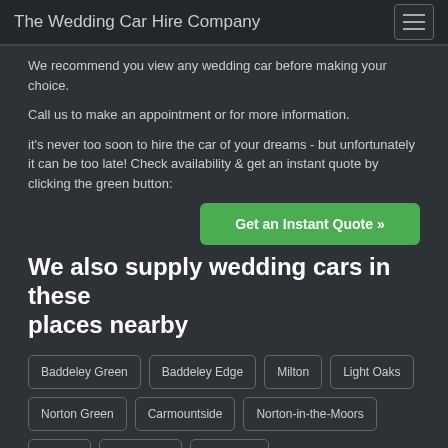The Wedding Car Hire Company
We recommend you view any wedding car before making your choice.
Call us to make an appointment or for more information.
it's never too soon to hire the car of your dreams - but unfortunately it can be too late! Check availability & get an instant quote by clicking the green button:
Get an Instant Quote »
We also supply wedding cars in these places nearby
Baddeley Green
Baddeley Edge
Milton
Light Oaks
Norton Green
Carmountside
Norton-in-the-Moors
Cornhill
Ford Green
Ball Green